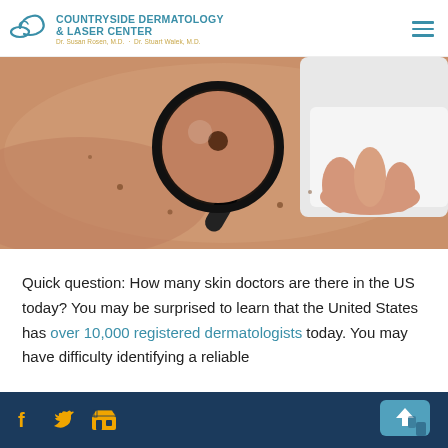COUNTRYSIDE DERMATOLOGY & LASER CENTER — Dr. Susan Rosen, M.D. · Dr. Stuart Walek, M.D.
[Figure (photo): A medical professional examining a mole on a patient's back using a magnifying glass / dermatoscope.]
Quick question: How many skin doctors are there in the US today? You may be surprised to learn that the United States has over 10,000 registered dermatologists today. You may have difficulty identifying a reliable
Social media icons: Facebook, Twitter, Google My Business. Back-to-top button.